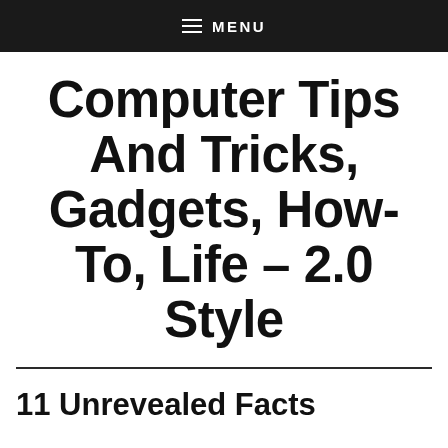≡ MENU
Computer Tips And Tricks, Gadgets, How-To, Life - 2.0 Style
11 Unrevealed Facts